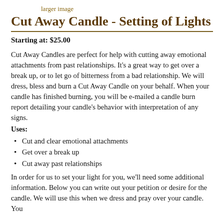larger image
Cut Away Candle - Setting of Lights
Starting at: $25.00
Cut Away Candles are perfect for help with cutting away emotional attachments from past relationships. It's a great way to get over a break up, or to let go of bitterness from a bad relationship. We will dress, bless and burn a Cut Away Candle on your behalf. When your candle has finished burning, you will be e-mailed a candle burn report detailing your candle's behavior with interpretation of any signs.
Uses:
Cut and clear emotional attachments
Get over a break up
Cut away past relationships
In order for us to set your light for you, we'll need some additional information. Below you can write out your petition or desire for the candle. We will use this when we dress and pray over your candle. You have the option to also choose later it it will only be used at our...